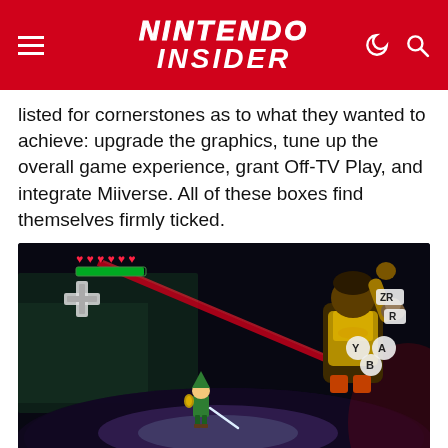NINTENDO INSIDER
listed for cornerstones as to what they wanted to achieve: upgrade the graphics, tune up the overall game experience, grant Off-TV Play, and integrate Miiverse. All of these boxes find themselves firmly ticked.
[Figure (screenshot): Screenshot from The Legend of Zelda: The Wind Waker HD on Wii U showing Link fighting an enemy (Phantom Ganon) in a dark interior environment. HUD elements visible: hearts, green health bar, item selector, button prompts (ZR, R, Y, A, B), and rupee count showing 243.]